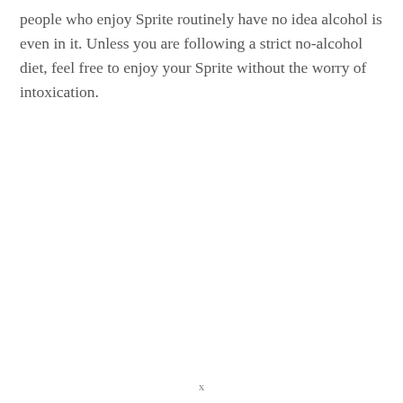people who enjoy Sprite routinely have no idea alcohol is even in it. Unless you are following a strict no-alcohol diet, feel free to enjoy your Sprite without the worry of intoxication.
x